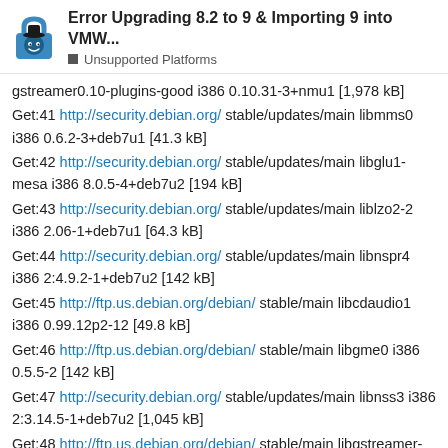Error Upgrading 8.2 to 9 & Importing 9 into VMW... | Unsupported Platforms
gstreamer0.10-plugins-good i386 0.10.31-3+nmu1 [1,978 kB]
Get:41 http://security.debian.org/ stable/updates/main libmms0 i386 0.6.2-3+deb7u1 [41.3 kB]
Get:42 http://security.debian.org/ stable/updates/main libglu1-mesa i386 8.0.5-4+deb7u2 [194 kB]
Get:43 http://security.debian.org/ stable/updates/main liblzo2-2 i386 2.06-1+deb7u1 [64.3 kB]
Get:44 http://security.debian.org/ stable/updates/main libnspr4 i386 2:4.9.2-1+deb7u2 [142 kB]
Get:45 http://ftp.us.debian.org/debian/ stable/main libcdaudio1 i386 0.99.12p2-12 [49.8 kB]
Get:46 http://ftp.us.debian.org/debian/ stable/main libgme0 i386 0.5.5-2 [142 kB]
Get:47 http://security.debian.org/ stable/updates/main libnss3 i386 2:3.14.5-1+deb7u2 [1,045 kB]
Get:48 http://ftp.us.debian.org/debian/ stable/main libgstreamer-plugins-bad0.10-0 i386 0.10.23-7.1+deb7u1 [762 kB]
Get:49 http://ftp.us.debian.org/debian/ stable/main libmimic0 i386 1.0.4-2.1 [20.6 kB]